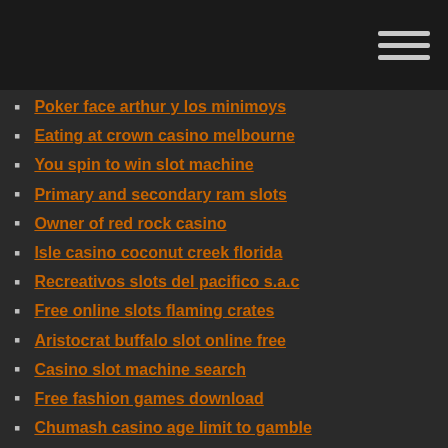Navigation menu header bar
Poker face arthur y los minimoys
Eating at crown casino melbourne
You spin to win slot machine
Primary and secondary ram slots
Owner of red rock casino
Isle casino coconut creek florida
Recreativos slots del pacifico s.a.c
Free online slots flaming crates
Aristocrat buffalo slot online free
Casino slot machine search
Free fashion games download
Chumash casino age limit to gamble
Hee haw slot machine app
Best online poker sites for mac users